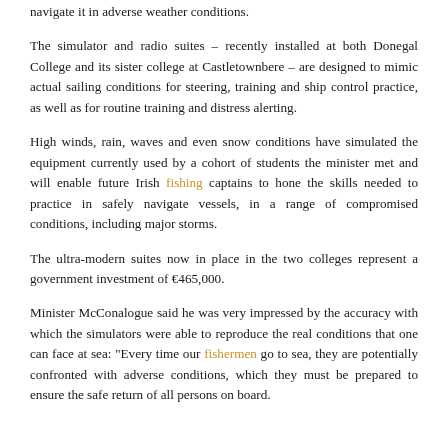navigate it in adverse weather conditions.
The simulator and radio suites – recently installed at both Donegal College and its sister college at Castletownbere – are designed to mimic actual sailing conditions for steering, training and ship control practice, as well as for routine training and distress alerting.
High winds, rain, waves and even snow conditions have simulated the equipment currently used by a cohort of students the minister met and will enable future Irish fishing captains to hone the skills needed to practice in safely navigate vessels, in a range of compromised conditions, including major storms.
The ultra-modern suites now in place in the two colleges represent a government investment of €465,000.
Minister McConalogue said he was very impressed by the accuracy with which the simulators were able to reproduce the real conditions that one can face at sea: "Every time our fishermen go to sea, they are potentially confronted with adverse conditions, which they must be prepared to ensure the safe return of all persons on board.